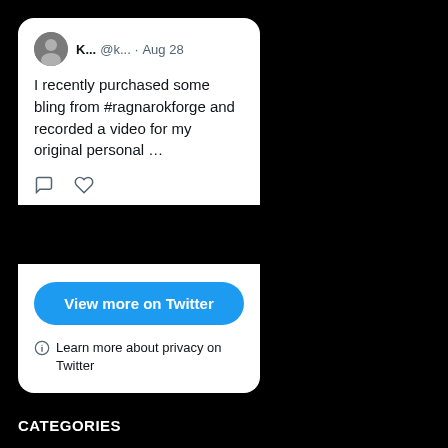[Figure (screenshot): Twitter/X embedded tweet card showing user K... @k... from Aug 28 with text 'I recently purchased some bling from #ragnarokforge and recorded a video for my original personal ...' with comment and like icons, a 'View more on Twitter' button, and a privacy note.]
View more on Twitter
Learn more about privacy on Twitter
CATEGORIES